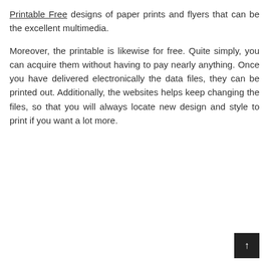Printable Free designs of paper prints and flyers that can be the excellent multimedia.
Moreover, the printable is likewise for free. Quite simply, you can acquire them without having to pay nearly anything. Once you have delivered electronically the data files, they can be printed out. Additionally, the websites helps keep changing the files, so that you will always locate new design and style to print if you want a lot more.